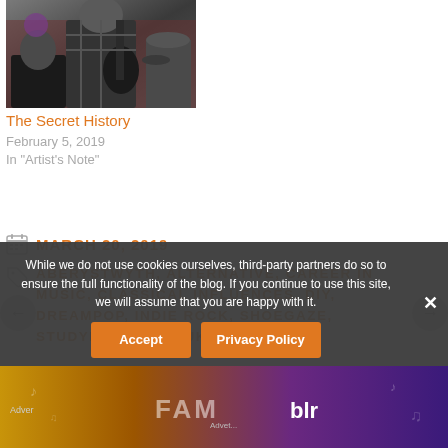[Figure (photo): A person playing guitar, black and white/dark photo of a musician in a plaid shirt]
The Secret History
February 5, 2019
In "Artist's Note"
MARCH 20, 2019
ABERYSTWYTH, ALTERNATIVE, CAREER IN MUSIC, CLASSICAL INFLUENCES, DIY, DREAMPOP, INDIE ROCK, SHOEGAZE, STUDYING MUSIC, UK
While we do not use cookies ourselves, third-party partners do so to ensure the full functionality of the blog. If you continue to use this site, we will assume that you are happy with it.
Accept
Privacy Policy